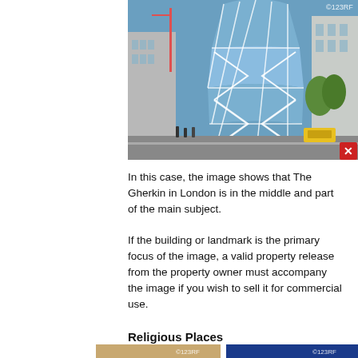[Figure (photo): Fisheye photograph of The Gherkin (30 St Mary Axe) building in London city, taken from street level looking up. The distinctive curved glass tower with diamond-shaped steel framework is centered. Surrounding buildings, pedestrians, vehicles, trees, and a blue sky are visible. A red delete/close icon appears in the bottom-right corner of the image. A 123RF watermark is in the top-right corner.]
In this case, the image shows that The Gherkin in London is in the middle and part of the main subject.

If the building or landmark is the primary focus of the image, a valid property release from the property owner must accompany the image if you wish to sell it for commercial use.
Religious Places
[Figure (photo): Bottom-left partial photo (cropped, tan/beige tones, 123RF watermark)]
[Figure (photo): Bottom-right partial photo (cropped, blue tones, 123RF watermark)]